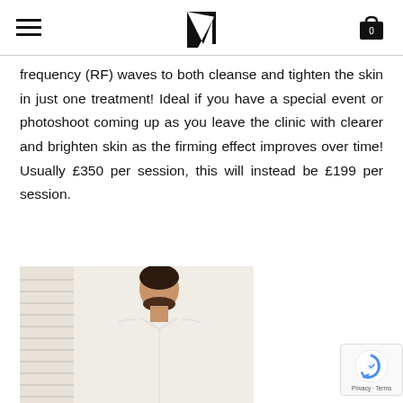Navigation header with hamburger menu, N logo, and cart icon
frequency (RF) waves to both cleanse and tighten the skin in just one treatment! Ideal if you have a special event or photoshoot coming up as you leave the clinic with clearer and brighten skin as the firming effect improves over time! Usually £350 per session, this will instead be £199 per session.
[Figure (photo): A man in a white shirt looking down, photographed in a clinical or indoor setting with blinds visible in the background]